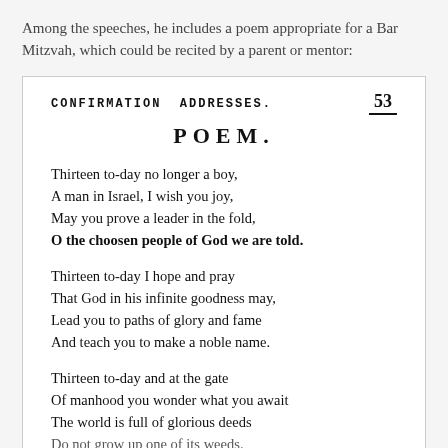Among the speeches, he includes a poem appropriate for a Bar Mitzvah, which could be recited by a parent or mentor:
CONFIRMATION ADDRESSES.    53
POEM.
Thirteen to-day no longer a boy,
A man in Israel, I wish you joy,
May you prove a leader in the fold,
O the choosen people of God we are told.
Thirteen to-day I hope and pray
That God in his infinite goodness may,
Lead you to paths of glory and fame
And teach you to make a noble name.
Thirteen to-day and at the gate
Of manhood you wonder what you await
The world is full of glorious deeds
Do not grow up one of its weeds.